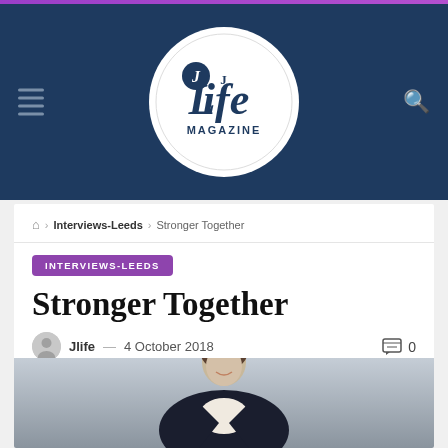[Figure (logo): JLife Magazine circular logo with dark navy background, white circle containing the text 'JLife MAGAZINE' in stylized font]
Home > Interviews-Leeds > Stronger Together
INTERVIEWS-LEEDS
Stronger Together
Jlife — 4 October 2018   0
[Figure (photo): Professional headshot of a smiling woman with short curly hair wearing a dark navy blazer over a floral top, photographed against a light grey background]